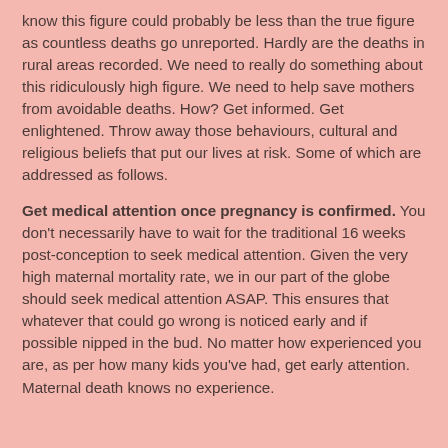know this figure could probably be less than the true figure as countless deaths go unreported. Hardly are the deaths in rural areas recorded. We need to really do something about this ridiculously high figure. We need to help save mothers from avoidable deaths. How? Get informed. Get enlightened. Throw away those behaviours, cultural and religious beliefs that put our lives at risk. Some of which are addressed as follows.
Get medical attention once pregnancy is confirmed. You don't necessarily have to wait for the traditional 16 weeks post-conception to seek medical attention. Given the very high maternal mortality rate, we in our part of the globe should seek medical attention ASAP. This ensures that whatever that could go wrong is noticed early and if possible nipped in the bud. No matter how experienced you are, as per how many kids you've had, get early attention. Maternal death knows no experience.